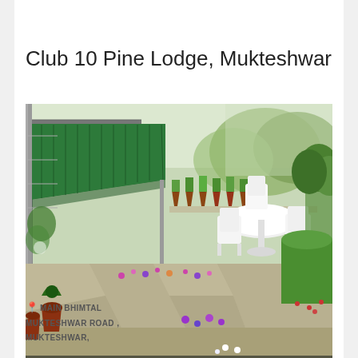Club 10 Pine Lodge, Mukteshwar
[Figure (photo): Outdoor garden/terrace area of Club 10 Pine Lodge showing a green corrugated metal awning, white plastic garden table and chairs, terracotta flower pots with plants along a ledge, colorful flowers along a stone-tiled pathway, and green lawn/garden area on the right side.]
MAIN BHIMTAL MUKTESHWAR ROAD , MUKTESHWAR,